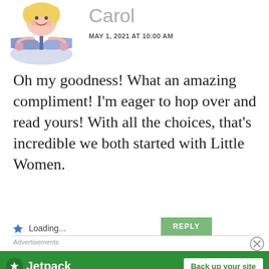[Figure (illustration): Cartoon illustration of a child with blonde hair reading a blue book with flower decorations]
Carol
MAY 1, 2021 AT 10:00 AM
Oh my goodness! What an amazing compliment! I'm eager to hop over and read yours! With all the choices, that's incredible we both started with Little Women.
Loading...
REPLY
Advertisements
Advertisements
[Figure (logo): Jetpack advertisement banner with green background showing Jetpack logo and 'Back up your site' button]